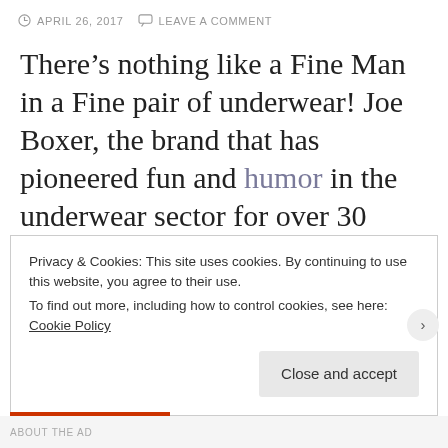APRIL 26, 2017   LEAVE A COMMENT
There’s nothing like a Fine Man in a Fine pair of underwear! Joe Boxer, the brand that has pioneered fun and humor in the underwear sector for over 30 years, is launching for the first time across Europe in multiple retailers.
Privacy & Cookies: This site uses cookies. By continuing to use this website, you agree to their use.
To find out more, including how to control cookies, see here: Cookie Policy
Close and accept